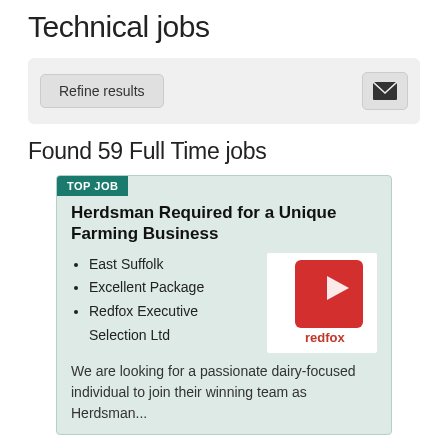Technical jobs
Refine results
Found 59 Full Time jobs
TOP JOB
Herdsman Required for a Unique Farming Business
East Suffolk
Excellent Package
Redfox Executive Selection Ltd
[Figure (logo): Redfox Executive Selection Ltd logo — red square with white arrow and 'redfox' text]
We are looking for a passionate dairy-focused individual to join their winning team as Herdsman...